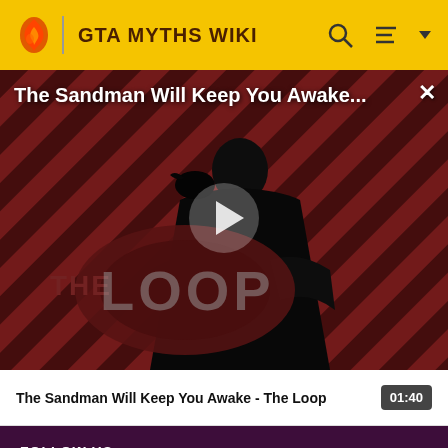GTA MYTHS WIKI
[Figure (screenshot): Video thumbnail for 'The Sandman Will Keep You Awake - The Loop' showing a dark figure in a cape with a raven, against a red and black diagonal stripe background, with THE LOOP logo overlay and a play button in the center.]
The Sandman Will Keep You Awake...
The Sandman Will Keep You Awake - The Loop
01:40
FOLLOW US